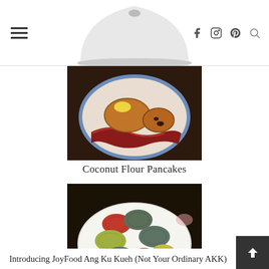Navigation header with hamburger menu, logo image, and social icons (Facebook, Instagram, Pinterest, Search)
[Figure (photo): Overhead view of coconut flour pancakes with butter on a decorative plate with bacon]
Coconut Flour Pancakes
[Figure (photo): Colorful Ang Ku Kueh (traditional Asian glutinous rice cakes) in red, green, and blue-grey colors arranged on a white floral plate]
Introducing JoyFood Ang Ku Kueh (Not Your Ordinary AKK)